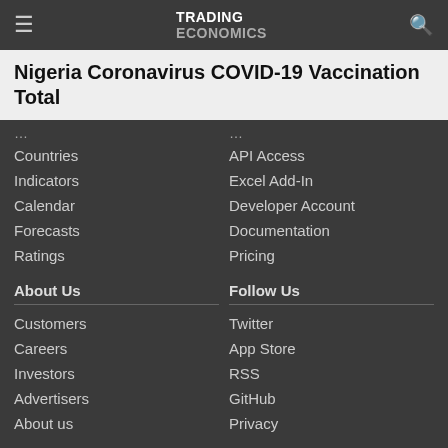TRADING ECONOMICS
Nigeria Coronavirus COVID-19 Vaccination Total
Countries
Indicators
Calendar
Forecasts
Ratings
API Access
Excel Add-In
Developer Account
Documentation
Pricing
About Us
Customers
Careers
Investors
Advertisers
About us
Follow Us
Twitter
App Store
RSS
GitHub
Privacy
Copyright ©2022 TRADING ECONOMICS
All Rights Reserved